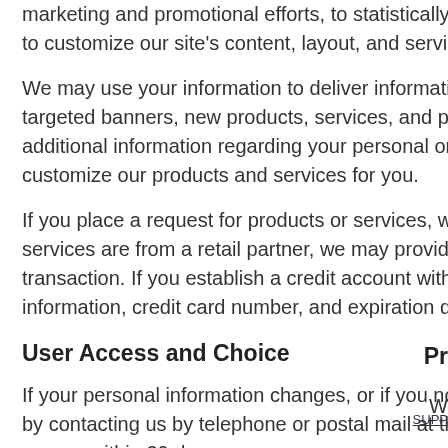marketing and promotional efforts, to statistically to customize our site's content, layout, and servic
We may use your information to deliver informatio targeted banners, new products, services, and pr additional information regarding your personal or customize our products and services for you.
If you place a request for products or services, we services are from a retail partner, we may provide transaction. If you establish a credit account with information, credit card number, and expiration da
User Access and Choice
If your personal information changes, or if you no by contacting us by telephone or postal mail at th access within 30 days.
Pr
W
SUPP